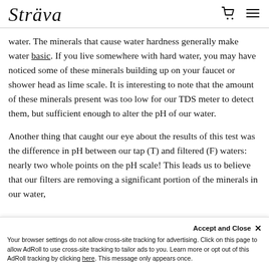Sträva [logo] [cart icon] [menu icon]
water. The minerals that cause water hardness generally make water basic. If you live somewhere with hard water, you may have noticed some of these minerals building up on your faucet or shower head as lime scale.  It is interesting to note that the amount of these minerals present was too low for our TDS meter to detect them, but sufficient enough to alter the pH of our water.
Another thing that caught our eye about the results of this test was the difference in pH between our tap (T) and filtered (F) waters: nearly two whole points on the pH scale! This leads us to believe that our filters are removing a significant portion of the minerals in our water,
Accept and Close ✕
Your browser settings do not allow cross-site tracking for advertising. Click on this page to allow AdRoll to use cross-site tracking to tailor ads to you. Learn more or opt out of this AdRoll tracking by clicking here. This message only appears once.